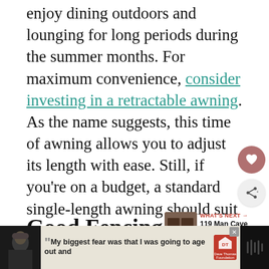enjoy dining outdoors and lounging for long periods during the summer months. For maximum convenience, consider investing in a retractable awning. As the name suggests, this time of awning allows you to adjust its length with ease. Still, if you're on a budget, a standard single-length awning should suit your needs perfectly.
Good Fencing
[Figure (screenshot): Website UI elements: heart favorite button (pink/mauve circle), share button (gray circle with share icon), and a 'WHAT'S NEXT' panel showing a small thumbnail image and text '119 Man Cave Ideas...' with a red arrow label]
[Figure (screenshot): Advertisement banner at bottom: dark background on left with person in winter hat, beige center with quote text 'My biggest fear was that I was going to age out and', Dave Thomas Foundation for Adoption logo, and dark right panel with speaker/music icon]